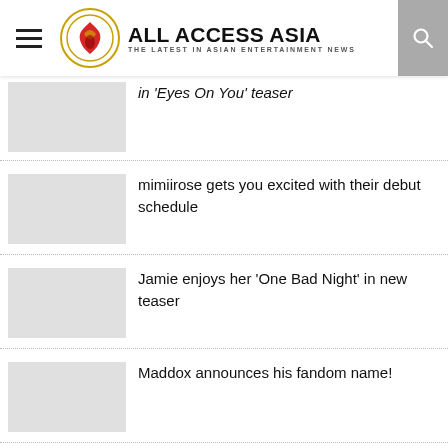ALL ACCESS ASIA — THE LATEST IN ASIAN ENTERTAINMENT NEWS
in 'Eyes On You' teaser
mimiirose gets you excited with their debut schedule
Jamie enjoys her 'One Bad Night' in new teaser
Maddox announces his fandom name!
M.I.C introduces two new members